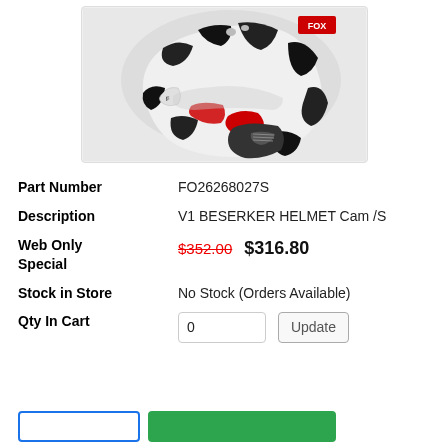[Figure (photo): Fox Racing V1 Beserker Helmet in white, black, and red camo pattern with Fox logo on the side and chin guard, shown from the front-left angle.]
| Part Number | FO26268027S |
| Description | V1 BESERKER HELMET Cam /S |
| Web Only Special | $352.00  $316.80 |
| Stock in Store | No Stock (Orders Available) |
| Qty In Cart | 0  Update |